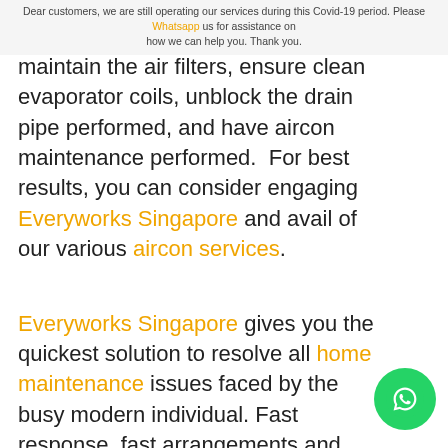Dear customers, we are still operating our services during this Covid-19 period. Please Whatsapp us for assistance on how we can help you. Thank you.
maintain the air filters, ensure clean evaporator coils, unblock the drain pipe performed, and have aircon maintenance performed.  For best results, you can consider engaging Everyworks Singapore and avail of our various aircon services.
Everyworks Singapore gives you the quickest solution to resolve all home maintenance issues faced by the busy modern individual. Fast response, fast arrangements and quality workmanship at reasonable and affordable prices.  As a leading trusted service provider in Singapore, we have served over 20,000